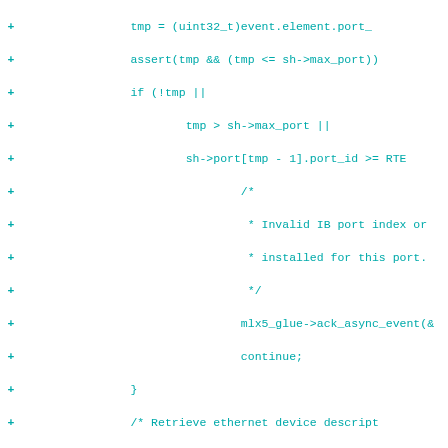[Figure (screenshot): Diff view of C source code showing added lines (green/teal with +) and removed lines (purple with -) for an InfiniBand/RDMA port event handling function. Lines include assertions, port index checks, ethernet device retrieval, and event type comparisons using IBV_EVENT_* constants.]